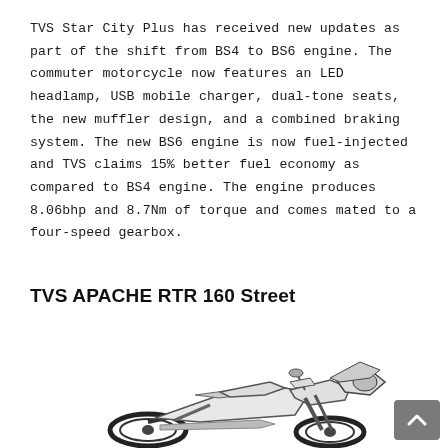TVS Star City Plus has received new updates as part of the shift from BS4 to BS6 engine. The commuter motorcycle now features an LED headlamp, USB mobile charger, dual-tone seats, the new muffler design, and a combined braking system. The new BS6 engine is now fuel-injected and TVS claims 15% better fuel economy as compared to BS4 engine. The engine produces 8.06bhp and 8.7Nm of torque and comes mated to a four-speed gearbox.
TVS APACHE RTR 160 Street
[Figure (photo): Black and white TVS Apache RTR 160 Street motorcycle, side view, partially visible at bottom of page]